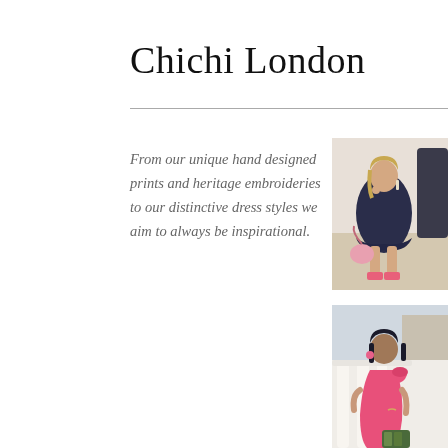Chichi London
From our unique hand designed prints and heritage embroideries to our distinctive dress styles we aim to always be inspirational.
[Figure (photo): Woman crouching in a navy blue ruffled satin dress holding a pink bag, wearing pink heeled sandals]
[Figure (photo): Woman wearing a bright pink one-shoulder fitted dress standing near white balustrades, holding a patterned clutch]